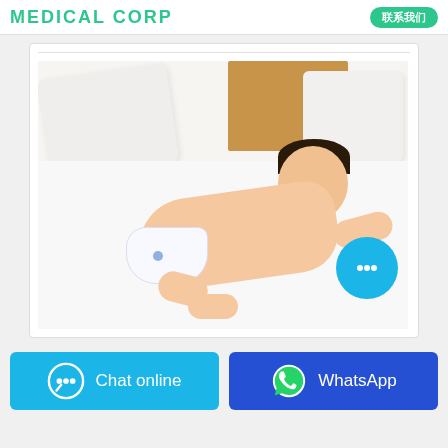MEDICAL CORP
[Figure (photo): Baby wearing a diaper lying face-down on a white bed with pillows and a wooden headboard]
Chat online
WhatsApp